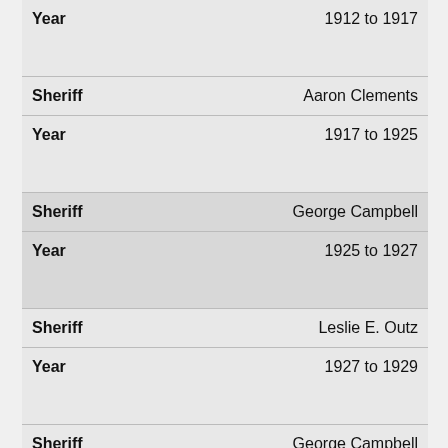| Field | Value |
| --- | --- |
| Year | 1912 to 1917 |
| Sheriff | Aaron Clements |
| Year | 1917 to 1925 |
| Sheriff | George Campbell |
| Year | 1925 to 1927 |
| Sheriff | Leslie E. Outz |
| Year | 1927 to 1929 |
| Sheriff | George Campbell |
| Year | 1929 to 1937 |